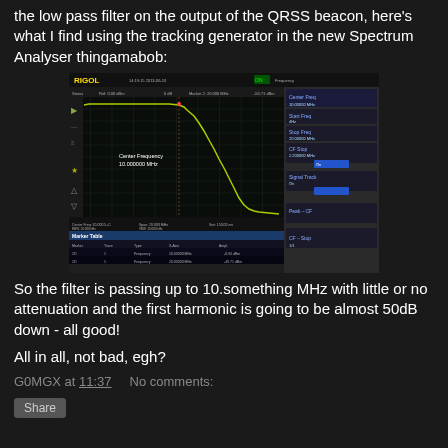the low pass filter on the output of the QRSS beacon, here's what I find using the tracking generator in the new Spectrum Analyser thingamabob:
[Figure (screenshot): Rigol spectrum analyser screen showing a low pass filter frequency response. The trace (yellow/green line) is flat from the left up to about 10 MHz then drops steeply. Center Frequency 10.000000 MHz label shown on screen. Marker table at the bottom shows two markers with frequency and amplitude readings.]
So the filter is passing up to 10.something MHz with little or no attenuation and the first harmonic is going to be almost 50dB down - all good!
All in all, not bad, egh?
G0MGX at 11:37    No comments: